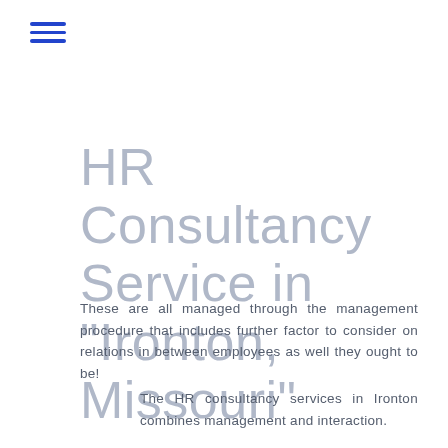[Figure (other): Hamburger menu icon — three horizontal blue lines]
HR Consultancy Service in "Ironton, Missouri"
These are all managed through the management procedure that includes further factor to consider on relations in between employees as well they ought to be!
The HR consultancy services in Ironton combines management and interaction.